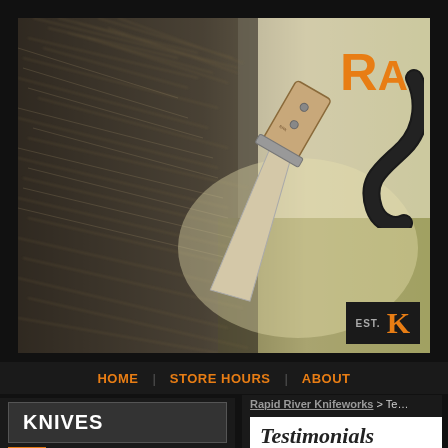[Figure (photo): Hero banner image showing close-up of animal fur/hide on the left and a knife handle/blade on a grassy outdoor background on the right, with orange 'RA' logo text and decorative swirl in upper right, and an 'EST. K' bar in lower right]
HOME  STORE HOURS  ABOUT
KNIVES
HUNTING KNIVES
Rapid River Knifeworks > Te...
Testimonials